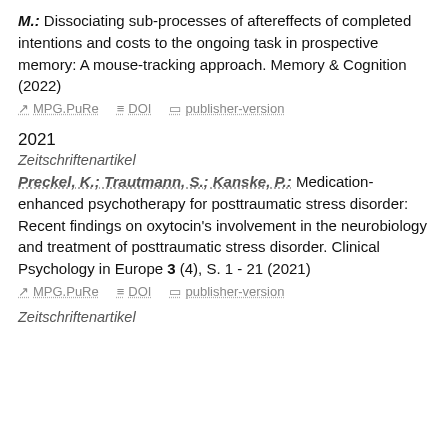M.: Dissociating sub-processes of aftereffects of completed intentions and costs to the ongoing task in prospective memory: A mouse-tracking approach. Memory & Cognition (2022)
MPG.PuRe   DOI   publisher-version
2021
Zeitschriftenartikel
Preckel, K.; Trautmann, S.; Kanske, P.: Medication-enhanced psychotherapy for posttraumatic stress disorder: Recent findings on oxytocin's involvement in the neurobiology and treatment of posttraumatic stress disorder. Clinical Psychology in Europe 3 (4), S. 1 - 21 (2021)
MPG.PuRe   DOI   publisher-version
Zeitschriftenartikel
...